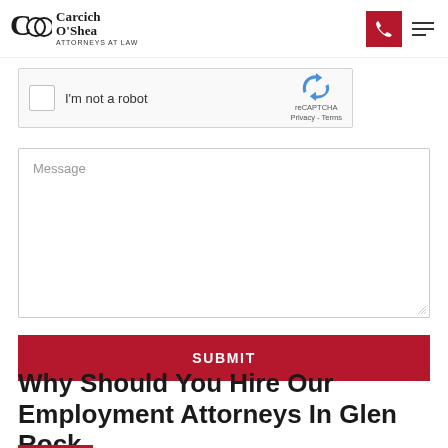Carcich O'Shea ATTORNEYS AT LAW
[Figure (screenshot): reCAPTCHA widget with checkbox labeled 'I'm not a robot' and reCAPTCHA logo with Privacy - Terms links]
Message
SUBMIT
Why Should You Hire Our Employment Attorneys In Glen Rock, New Jersey?